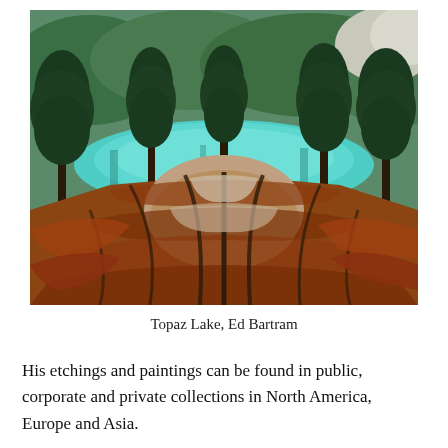[Figure (illustration): A painting of Topaz Lake by Ed Bartram showing a landscape with a turquoise-colored lake in the background, surrounded by dark pine trees, and dramatic reddish-orange and grey striated rock formations in the foreground.]
Topaz Lake, Ed Bartram
His etchings and paintings can be found in public, corporate and private collections in North America, Europe and Asia.